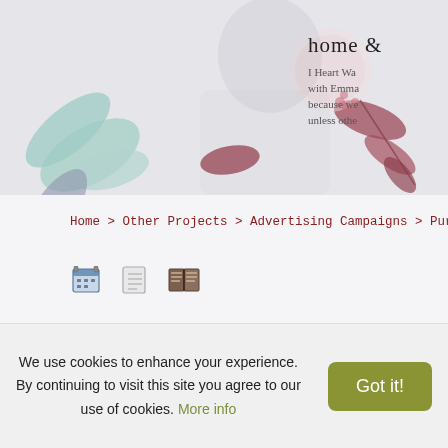[Figure (illustration): Website header banner with a black-and-white photo of a young woman in a sweater, surrounded by watercolor botanical illustrations of leaves in teal, dusty rose, and mauve tones, on a light grey background. Partially visible text reads 'home &' and a description starting with 'I Heart Wa... with Emma... because we... unless othe...']
Home > Other Projects > Advertising Campaigns > Pure Threads > Prom
[Figure (screenshot): Three small toolbar/icon images in a row: a calendar/grid icon, a text/document icon, and a book/magazine icon]
We use cookies to enhance your experience. By continuing to visit this site you agree to our use of cookies. More info
Got it!